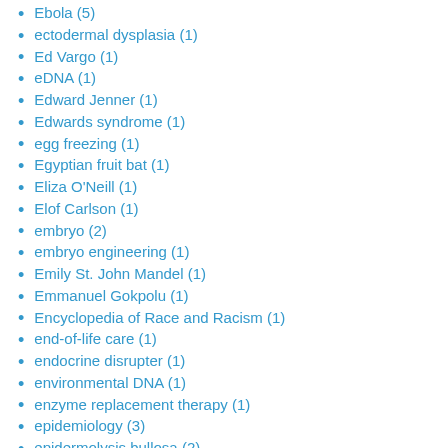Ebola (5)
ectodermal dysplasia (1)
Ed Vargo (1)
eDNA (1)
Edward Jenner (1)
Edwards syndrome (1)
egg freezing (1)
Egyptian fruit bat (1)
Eliza O'Neill (1)
Elof Carlson (1)
embryo (2)
embryo engineering (1)
Emily St. John Mandel (1)
Emmanuel Gokpolu (1)
Encyclopedia of Race and Racism (1)
end-of-life care (1)
endocrine disrupter (1)
environmental DNA (1)
enzyme replacement therapy (1)
epidemiology (3)
epidermolysis bullosa (2)
EPO (2)
equine genetics (1)
erectile dysfunction (1)
erythropoietin (1)
escape mutations (1)
essential tremor (1)